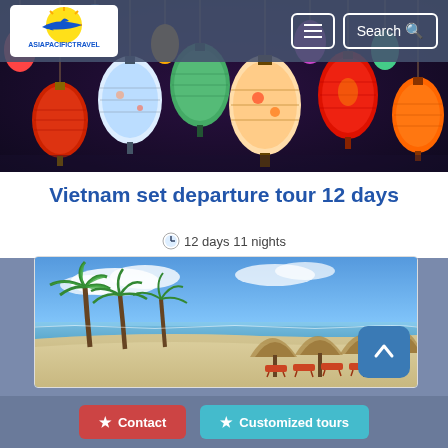AsiaPacificTravel - Navigation with menu and search buttons
[Figure (photo): Colorful Vietnamese lanterns hanging in a market]
Vietnam set departure tour 12 days
12 days 11 nights
[Figure (photo): Tropical beach with palm trees, thatched umbrellas, and orange lounge chairs on white sand under blue sky]
Contact | Customized tours